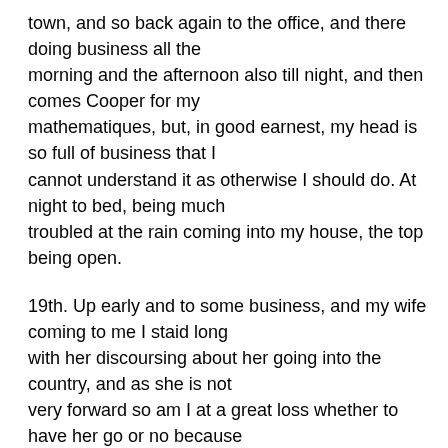town, and so back again to the office, and there doing business all the morning and the afternoon also till night, and then comes Cooper for my mathematiques, but, in good earnest, my head is so full of business that I cannot understand it as otherwise I should do. At night to bed, being much troubled at the rain coming into my house, the top being open.
19th. Up early and to some business, and my wife coming to me I staid long with her discoursing about her going into the country, and as she is not very forward so am I at a great loss whether to have her go or no because of the charge, and yet in some considerations I would be glad she was there, because of the dirtiness of my house and the trouble of having of a